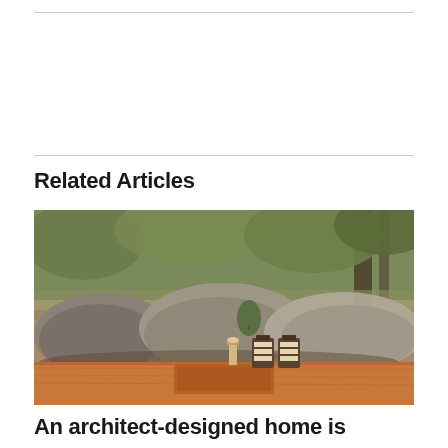Related Articles
[Figure (photo): Outdoor photograph showing large granite boulders in a natural bushland setting with trees and scrub vegetation in the background, and a warm timber countertop in the foreground with two striped product bottles and a candle holder.]
An architect-designed home is